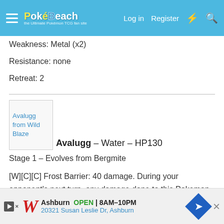PokéBeach — Log in | Register
Weakness: Metal (x2)
Resistance: none
Retreat: 2
[Figure (illustration): Avalugg card image from Wild Blaze set]
Avalugg – Water – HP130
Stage 1 – Evolves from Bergmite
[W][C][C] Frost Barrier: 40 damage. During your opponent's next turn, any damage done to this Pokemon by attacks is reduced by 20.
[Figure (screenshot): Walgreens advertisement banner: Ashburn OPEN 8AM–10PM, 20321 Susan Leslie Dr, Ashburn]